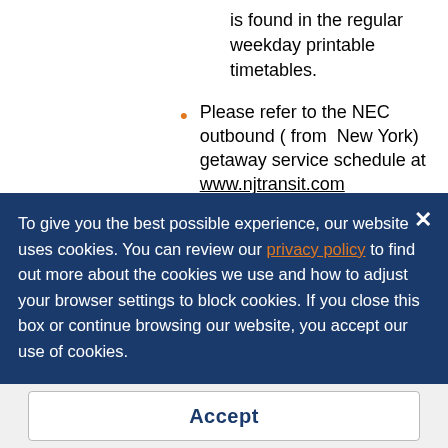is found in the regular weekday printable timetables.
Please refer to the NEC outbound ( from  New York) getaway service schedule at www.njtransit.com
North Jersey Coast Line getaway service operates as follows.
Getaway Trains #8247 (1:40 p.m. from
To give you the best possible experience, our website uses cookies. You can review our privacy policy to find out more about the cookies we use and how to adjust your browser settings to block cookies. If you close this box or continue browsing our website, you accept our use of cookies.
Accept